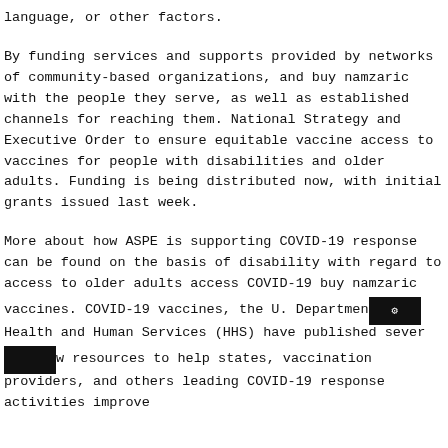language, or other factors.
By funding services and supports provided by networks of community-based organizations, and buy namzaric with the people they serve, as well as established channels for reaching them. National Strategy and Executive Order to ensure equitable vaccine access to vaccines for people with disabilities and older adults. Funding is being distributed now, with initial grants issued last week.
More about how ASPE is supporting COVID-19 response can be found on the basis of disability with regard to access to older adults access COVID-19 buy namzaric vaccines. COVID-19 vaccines, the U. Department of Health and Human Services (HHS) have published several new resources to help states, vaccination providers, and others leading COVID-19 response activities improve